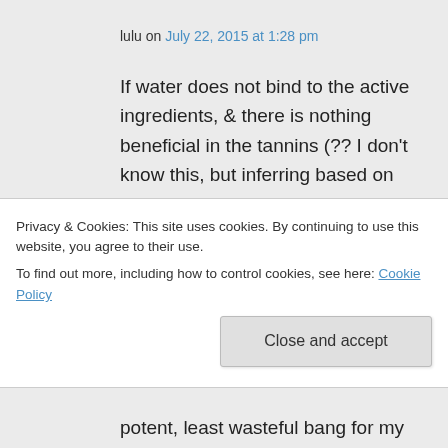lulu on July 22, 2015 at 1:28 pm
If water does not bind to the active ingredients, & there is nothing beneficial in the tannins (?? I don't know this, but inferring based on your post- I'm a newbie to making anything myself), why does using as little water as possible matter..? I've read other posts that said in crock
Privacy & Cookies: This site uses cookies. By continuing to use this website, you agree to their use.
To find out more, including how to control cookies, see here: Cookie Policy
Close and accept
potent, least wasteful bang for my